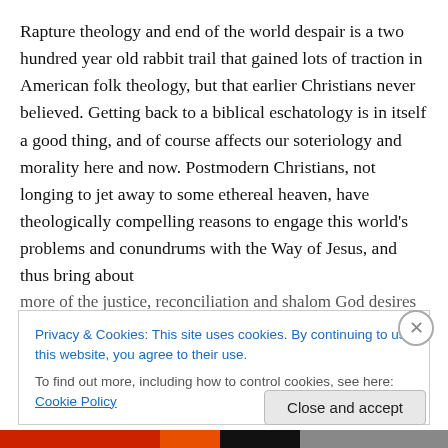Rapture theology and end of the world despair is a two hundred year old rabbit trail that gained lots of traction in American folk theology, but that earlier Christians never believed. Getting back to a biblical eschatology is in itself a good thing, and of course affects our soteriology and morality here and now. Postmodern Christians, not longing to jet away to some ethereal heaven, have theologically compelling reasons to engage this world's problems and conundrums with the Way of Jesus, and thus bring about more of the justice, reconciliation and shalom God desires
Privacy & Cookies: This site uses cookies. By continuing to use this website, you agree to their use. To find out more, including how to control cookies, see here: Cookie Policy
Close and accept